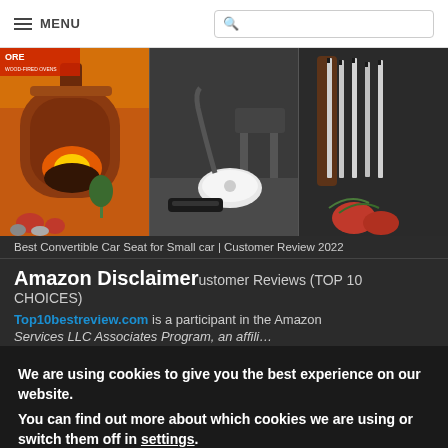MENU [search bar]
[Figure (photo): Three product images side by side: a wood-fired clay oven with fire and vegetables, a white vacuum cleaner on a floor, and kitchen knives mounted on a magnetic strip.]
Best Convertible Car Seat for Small car | Customer Review 2022
Amazon Disclaimer
ustomer Reviews (TOP 10 CHOICES)
Top10bestreview.com is a participant in the Amazon
We are using cookies to give you the best experience on our website.
You can find out more about which cookies we are using or switch them off in settings.
Accept